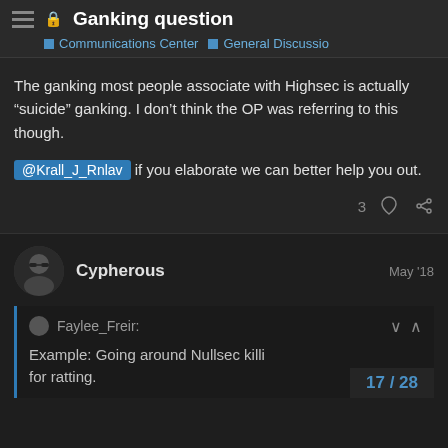Ganking question | Communications Center | General Discussio
The ganking most people associate with Highsec is actually “suicide” ganking. I don’t think the OP was referring to this though.
@Krall_J_Rnlav if you elaborate we can better help you out.
3 ♥ 🔗
Cypherous May '18
Faylee_Freir: Example: Going around Nullsec killi for ratting.
17/28